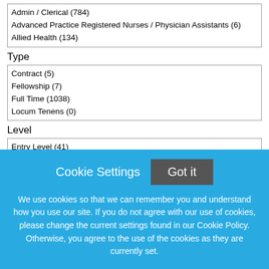Admin / Clerical (784)
Advanced Practice Registered Nurses / Physician Assistants (6)
Allied Health (134)
Type
Contract (5)
Fellowship (7)
Full Time (1038)
Locum Tenens (0)
Level
Entry Level (41)
Experienced (736)
Internship (1)
Apply Filters
Clear All Filters
Cookie Settings
Got it
We use cookies so that we can remember you and understand how you use our site. If you do not agree with our use of cookies, please change the current settings found in our Cookie Policy. Otherwise, you agree to the use of the cookies as they are currently set.